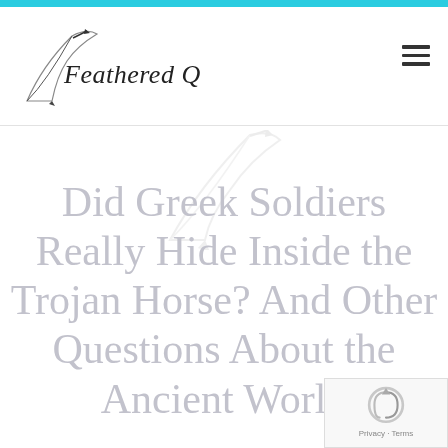Feathered Quill
Did Greek Soldiers Really Hide Inside the Trojan Horse? And Other Questions About the Ancient World